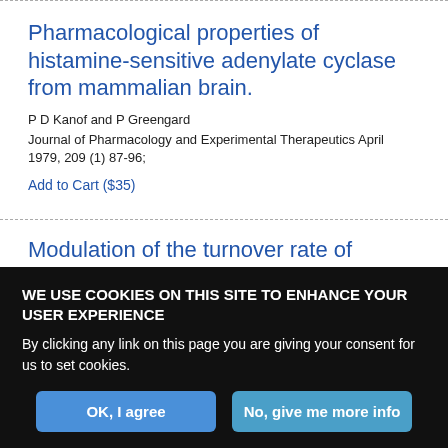Pharmacological properties of histamine-sensitive adenylate cyclase from mammalian brain.
P D Kanof and P Greengard
Journal of Pharmacology and Experimental Therapeutics April 1979, 209 (1) 87-96;
Add to Cart ($35)
Modulation of the turnover rate of hippocampal acetylcholine by
WE USE COOKIES ON THIS SITE TO ENHANCE YOUR USER EXPERIENCE
By clicking any link on this page you are giving your consent for us to set cookies.
OK, I agree
No, give me more info